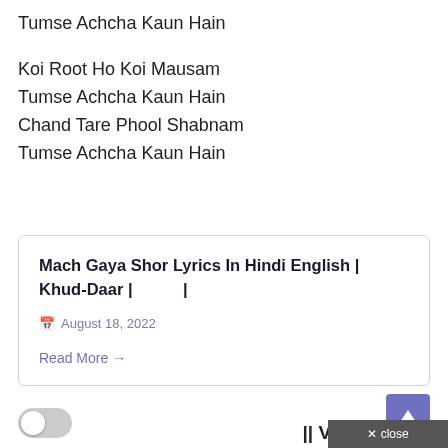Tumse Achcha Kaun Hain
Koi Root Ho Koi Mausam
Tumse Achcha Kaun Hain
Chand Tare Phool Shabnam
Tumse Achcha Kaun Hain
Mach Gaya Shor Lyrics In Hindi English | Khud-Daar | |
August 18, 2022
Read More →
|| Vijayv